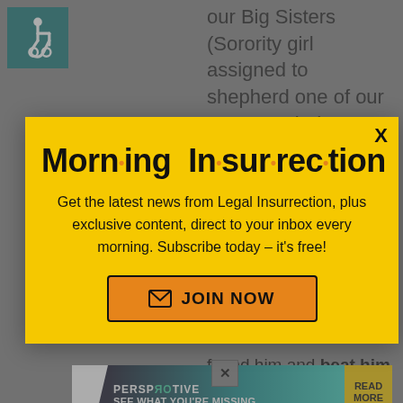[Figure (other): Wheelchair accessibility icon in teal/dark green square]
our Big Sisters (Sorority girl assigned to shepherd one of our younger pledges through college life
[Figure (other): Morning Insurrection email newsletter popup modal with yellow background. Title reads 'Morn·ing In·sur·rec·tion' with orange dots between syllables. Subtitle: 'Get the latest news from Legal Insurrection, plus exclusive content, direct to your inbox every morning. Subscribe today – it's free!' with a JOIN NOW button. X close button top right.]
found him and beat him
op
[Figure (other): The Perspective advertisement banner at bottom: dark background with teal gradient, white triangle shape on left, 'THE PERSPECTIVE' logo, 'SEE WHAT YOU'RE MISSING' text, and yellow READ MORE button on right. Small X close button overlay.]